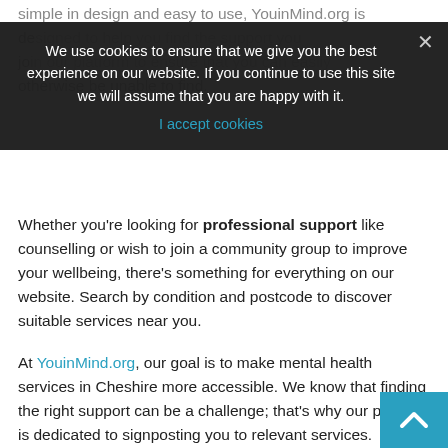Simple in design and easy to use, YouinMind.org is designed to help you find the support you join our platform to ensure that you can easily otherwise be unable to find.
[Figure (screenshot): Cookie consent banner overlay with dark background reading: 'We use cookies to ensure that we give you the best experience on our website. If you continue to use this site we will assume that you are happy with it.' with an 'I accept cookies' link and an X close button.]
Whether you're looking for professional support like counselling or wish to join a community group to improve your wellbeing, there's something for everything on our website. Search by condition and postcode to discover suitable services near you.
At YouinMind.org, our goal is to make mental health services in Cheshire more accessible. We know that finding the right support can be a challenge; that's why our platform is dedicated to signposting you to relevant services.
Our team works closely with local providers to keep our platform up-to-date and to make sure their servi...